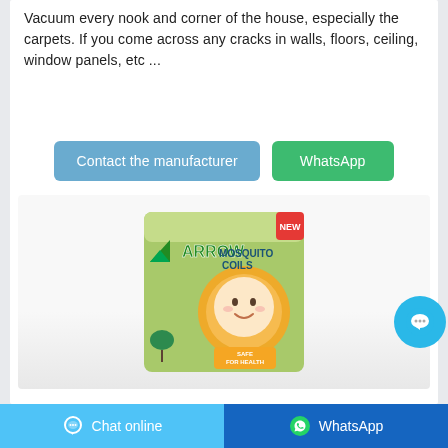Vacuum every nook and corner of the house, especially the carpets. If you come across any cracks in walls, floors, ceiling, window panels, etc ...
Contact the manufacturer
WhatsApp
[Figure (photo): Arrow Mosquito Coils product box with green packaging, baby image, and 'New' label]
Chat online   WhatsApp